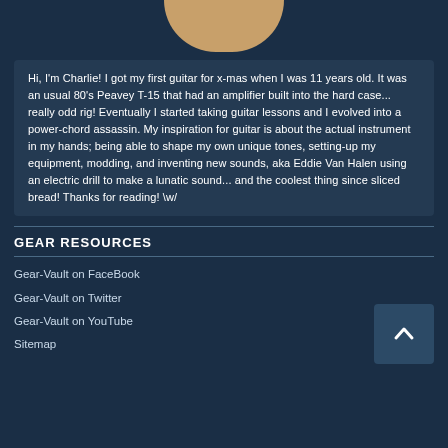[Figure (photo): Partial circular photo of a guitar at the top of the page, cropped to show only the bottom arc]
Hi, I'm Charlie! I got my first guitar for x-mas when I was 11 years old. It was an usual 80's Peavey T-15 that had an amplifier built into the hard case... really odd rig! Eventually I started taking guitar lessons and I evolved into a power-chord assassin. My inspiration for guitar is about the actual instrument in my hands; being able to shape my own unique tones, setting-up my equipment, modding, and inventing new sounds, aka Eddie Van Halen using an electric drill to make a lunatic sound... and the coolest thing since sliced bread! Thanks for reading! \w/
GEAR RESOURCES
Gear-Vault on FaceBook
Gear-Vault on Twitter
Gear-Vault on YouTube
Sitemap